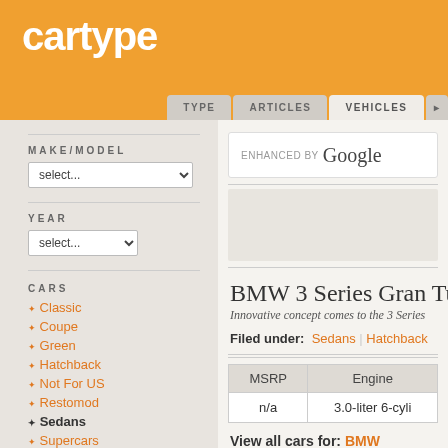cartype — TYPE | ARTICLES | VEHICLES
MAKE/MODEL
select... (dropdown)
YEAR
select... (dropdown)
CARS
Classic
Coupe
Green
Hatchback
Not For US
Restomod
Sedans
Supercars
Topless
Ugly
Wagons
[Figure (screenshot): Enhanced by Google search box]
[Figure (other): Advertisement placeholder box]
BMW 3 Series Gran Tur
Innovative concept comes to the 3 Series
Filed under: Sedans | Hatchback
| MSRP | Engine |
| --- | --- |
| n/a | 3.0-liter 6-cyli |
View all cars for: BMW